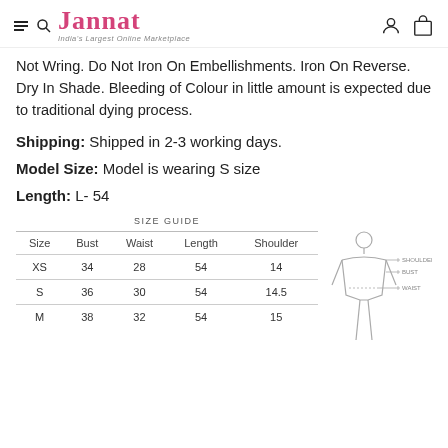Jannat — India's Largest Online Marketplace
Not Wring. Do Not Iron On Embellishments. Iron On Reverse. Dry In Shade. Bleeding of Colour in little amount is expected due to traditional dying process.
Shipping: Shipped in 2-3 working days.
Model Size: Model is wearing S size
Length: L- 54
SIZE GUIDE
| Size | Bust | Waist | Length | Shoulder |
| --- | --- | --- | --- | --- |
| XS | 34 | 28 | 54 | 14 |
| S | 36 | 30 | 54 | 14.5 |
| M | 38 | 32 | 54 | 15 |
[Figure (illustration): Line drawing of a female figure with measurement indicators for Shoulder, Bust, and Waist labeled on the right side]